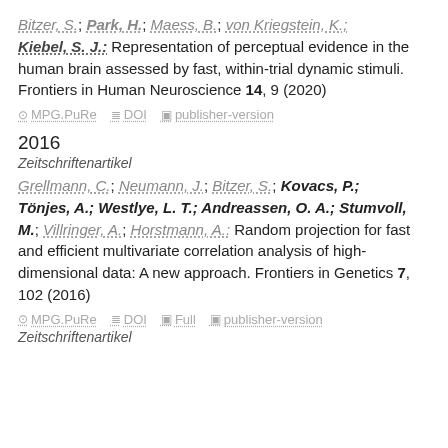Bitzer, S.; Park, H.; Maess, B.; von Kriegstein, K.; Kiebel, S. J.: Representation of perceptual evidence in the human brain assessed by fast, within-trial dynamic stimuli. Frontiers in Human Neuroscience 14, 9 (2020)
⊙ MPG.PuRe  ≣ DOI  ▣ publisher-version
2016
Zeitschriftenartikel
Grellmann, C.; Neumann, J.; Bitzer, S.; Kovacs, P.; Tönjes, A.; Westlye, L. T.; Andreassen, O. A.; Stumvoll, M.; Villringer, A.; Horstmann, A.: Random projection for fast and efficient multivariate correlation analysis of high-dimensional data: A new approach. Frontiers in Genetics 7, 102 (2016)
⊙ MPG.PuRe  ≣ DOI  ▣ Full  ▣ publisher-version
Zeitschriftenartikel